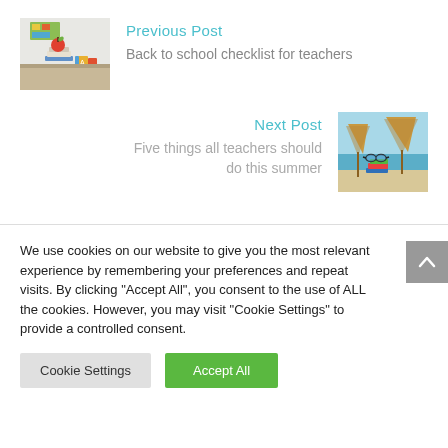Previous Post
[Figure (photo): Photo of school supplies: books, an apple, and colorful blocks on a desk]
Back to school checklist for teachers
Next Post
[Figure (photo): Photo of books on a beach with straw umbrellas and sunglasses in the background]
Five things all teachers should do this summer
We use cookies on our website to give you the most relevant experience by remembering your preferences and repeat visits. By clicking "Accept All", you consent to the use of ALL the cookies. However, you may visit "Cookie Settings" to provide a controlled consent.
Cookie Settings
Accept All